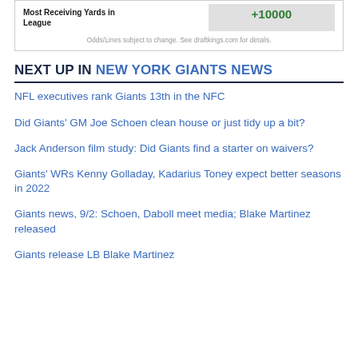|  |  |
| --- | --- |
| Most Receiving Yards in League | +10000 |
Odds/Lines subject to change. See draftkings.com for details.
NEXT UP IN NEW YORK GIANTS NEWS
NFL executives rank Giants 13th in the NFC
Did Giants' GM Joe Schoen clean house or just tidy up a bit?
Jack Anderson film study: Did Giants find a starter on waivers?
Giants' WRs Kenny Golladay, Kadarius Toney expect better seasons in 2022
Giants news, 9/2: Schoen, Daboll meet media; Blake Martinez released
Giants release LB Blake Martinez